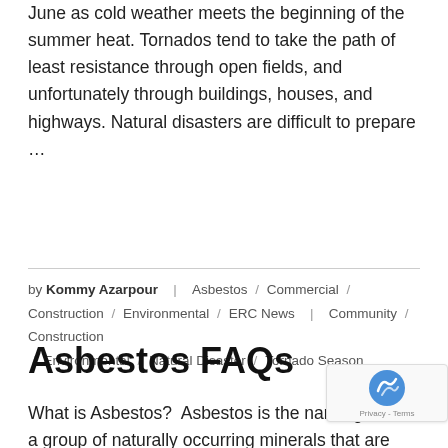June as cold weather meets the beginning of the summer heat. Tornados tend to take the path of least resistance through open fields, and unfortunately through buildings, houses, and highways. Natural disasters are difficult to prepare …
by Kommy Azarpour / Asbestos / Commercial / Construction / Environmental / ERC News | Community / Construction / Environmental / Natural Disaster / Tornado Season
Asbestos FAQs
What is Asbestos?  Asbestos is the name given to a group of naturally occurring minerals that are resistant to heat and corrosion.  Asbestos includes the mineral fibers chrysotile, amosite, crocidolite, tremolite, anthophyllite, actinolite, and any of those materials that have been chemically treated or